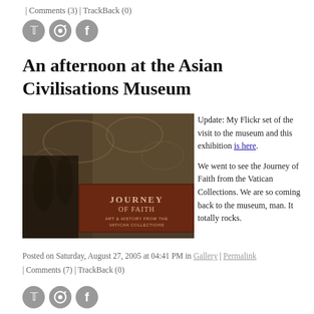| Comments (3) | TrackBack (0)
An afternoon at the Asian Civilisations Museum
[Figure (photo): Photograph showing a museum exhibition sign reading 'Journey of Faith – Art & History from the Vatican Collections' with decorative tapestry/mural visible in background]
Update: My Flickr set of the visit to the museum and this exhibition is here.
We went to see the Journey of Faith from the Vatican Collections. We are so coming back to the museum, man. It totally rocks.
Posted on Saturday, August 27, 2005 at 04:41 PM in Gallery | Permalink | Comments (7) | TrackBack (0)